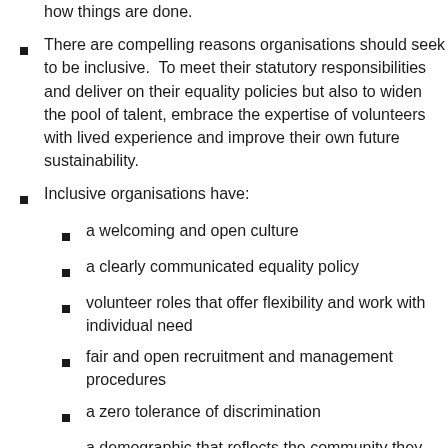how things are done.
There are compelling reasons organisations should seek to be inclusive.  To meet their statutory responsibilities and deliver on their equality policies but also to widen the pool of talent, embrace the expertise of volunteers with lived experience and improve their own future sustainability.
Inclusive organisations have:
a welcoming and open culture
a clearly communicated equality policy
volunteer roles that offer flexibility and work with individual need
fair and open recruitment and management procedures
a zero tolerance of discrimination
a demographic that reflects the community they serve